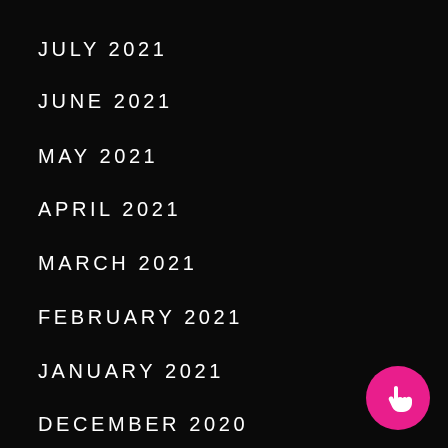JULY 2021
JUNE 2021
MAY 2021
APRIL 2021
MARCH 2021
FEBRUARY 2021
JANUARY 2021
DECEMBER 2020
[Figure (illustration): Magenta/pink circular floating action button with a white pointer/hand cursor icon in the bottom-right corner]